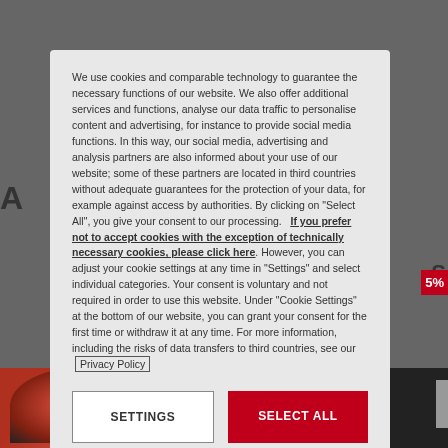We use cookies and comparable technology to guarantee the necessary functions of our website. We also offer additional services and functions, analyse our data traffic to personalise content and advertising, for instance to provide social media functions. In this way, our social media, advertising and analysis partners are also informed about your use of our website; some of these partners are located in third countries without adequate guarantees for the protection of your data, for example against access by authorities. By clicking on "Select All", you give your consent to our processing.  If you prefer not to accept cookies with the exception of technically necessary cookies, please click here. However, you can adjust your cookie settings at any time in "Settings" and select individual categories. Your consent is voluntary and not required in order to use this website. Under "Cookie Settings" at the bottom of our website, you can grant your consent for the first time or withdraw it at any time. For more information, including the risks of data transfers to third countries, see our  Privacy Policy
SETTINGS
SELECT ALL